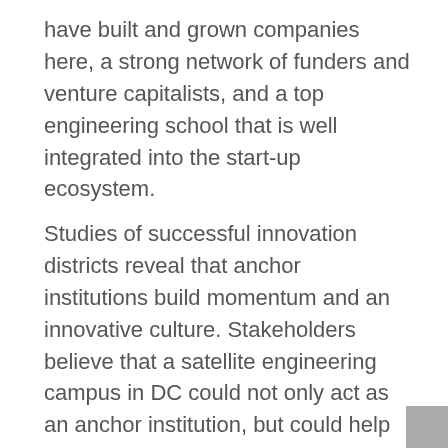have built and grown companies here, a strong network of funders and venture capitalists, and a top engineering school that is well integrated into the start-up ecosystem.
Studies of successful innovation districts reveal that anchor institutions build momentum and an innovative culture. Stakeholders believe that a satellite engineering campus in DC could not only act as an anchor institution, but could help address critical gaps in the DC labor market, spur innovation and strengthen the start-up culture in the city.